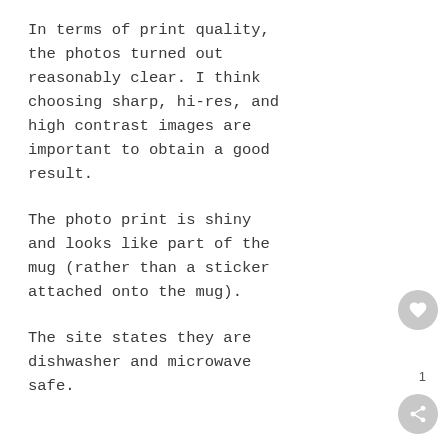In terms of print quality, the photos turned out reasonably clear. I think choosing sharp, hi-res, and high contrast images are important to obtain a good result.
The photo print is shiny and looks like part of the mug (rather than a sticker attached onto the mug).
The site states they are dishwasher and microwave safe.